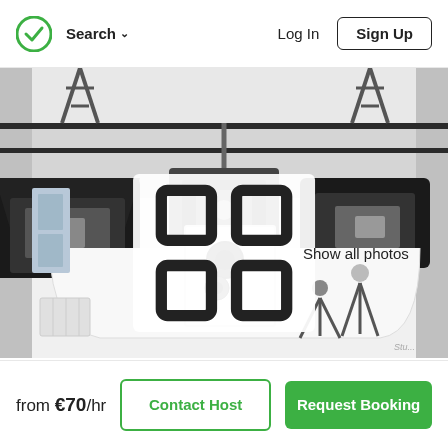Search  Log In  Sign Up
[Figure (photo): Interior of a photography studio with multiple black studio lights and softboxes hanging from the ceiling on scissor mounts, various stands and lighting equipment on the white floor, and a white seamless backdrop. A grid icon button overlay reads 'Show all photos'.]
from €70/hr
Contact Host
Request Booking